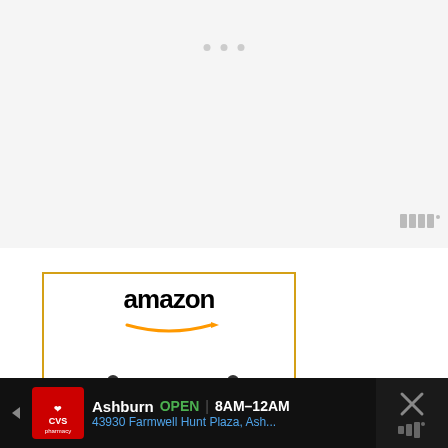[Figure (screenshot): Top gray content area with three dots and a triple-bar icon indicating a loading or placeholder web content area]
[Figure (screenshot): Amazon ad unit showing EZ Tofu Press product, price $21.99 with Prime badge and Shop now button]
EZ Tofu Press- Best Tofu...
$21.99
Shop now
326
[Figure (screenshot): Bottom black ad bar showing CVS Pharmacy local store ad: Ashburn OPEN 8AM-12AM, 43930 Farmwell Hunt Plaza, Ash... with navigation icon and close X button on right]